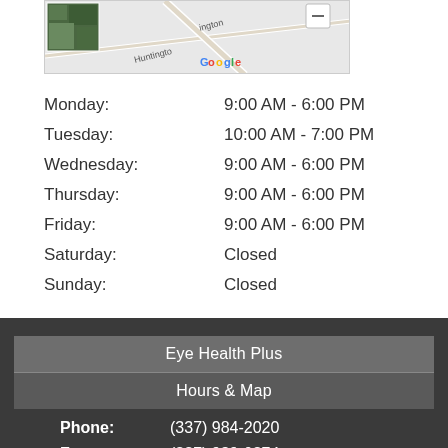[Figure (map): Google Maps snippet showing a partial street map with 'huntington' street labels, a satellite photo thumbnail in the upper left corner, and a minus button in the upper right corner.]
| Day | Hours |
| --- | --- |
| Monday: | 9:00 AM - 6:00 PM |
| Tuesday: | 10:00 AM - 7:00 PM |
| Wednesday: | 9:00 AM - 6:00 PM |
| Thursday: | 9:00 AM - 6:00 PM |
| Friday: | 9:00 AM - 6:00 PM |
| Saturday: | Closed |
| Sunday: | Closed |
Eye Health Plus
Hours & Map
Phone: (337) 984-2020
Fax: (337) 989-0374